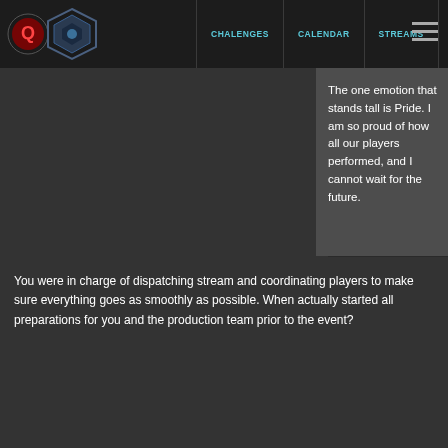CHALENGES | CALENDAR | STREAMS
The one emotion that stands tall is Pride. I am so proud of how all our players performed, and I cannot wait for the future.
You were in charge of dispatching stream and coordinating players to make sure everything goes as smoothly as possible. When actually started all preparations for you and the production team prior to the event?
We had little prep before the event. My preparation included being a tournament admin for a Gears of War tournament that one of my friends set me up with so I could become more comfortable with directing players. However, this only set me up for online tournaments, and LAN tournaments are a whole different beast. Players need to set up, warm up, get their pick-bans done, and while all that's going on, our production is asking if the players are ready, and I have to come up with content for the stream on the fly.
We actually practiced a bit the morning of Friday the 26th. So a ton of the technical